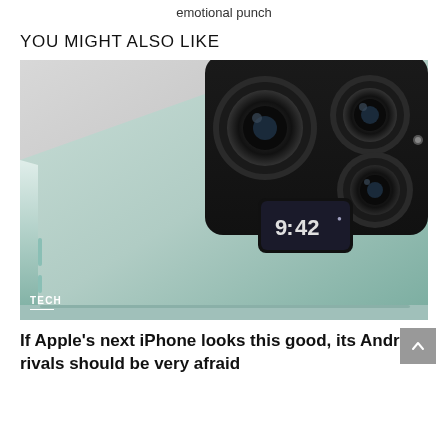emotional punch
YOU MIGHT ALSO LIKE
[Figure (photo): Close-up render of a smartphone (likely Samsung Galaxy fold or concept phone) in mint/sage green color showing the back panel with a large black camera module containing three camera lenses and a small display. The device is viewed from a low angle showing the side buttons.]
TECH
If Apple's next iPhone looks this good, its Android rivals should be very afraid